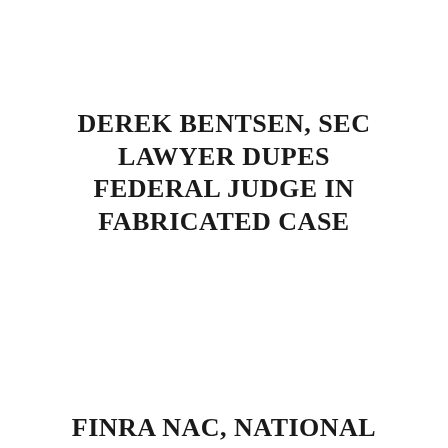DEREK BENTSEN, SEC LAWYER DUPES FEDERAL JUDGE IN FABRICATED CASE
FINRA NAC, NATIONAL